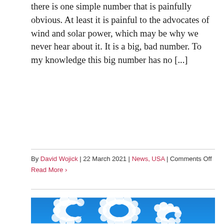there is one simple number that is painfully obvious. At least it is painful to the advocates of wind and solar power, which may be why we never hear about it. It is a big, bad number. To my knowledge this big number has no [...]
By David Wojick | 22 March 2021 | News, USA | Comments Off
Read More ›
[Figure (photo): Blue sky background with white cloud-shaped letters spelling CO2, with the 2 as a subscript. The letters C, O, and 2 are formed from fluffy white clouds against a bright blue sky.]